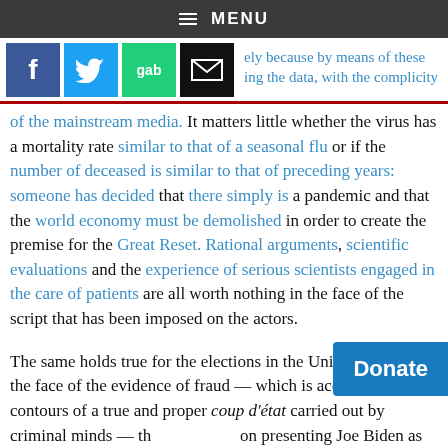≡ MENU
[Figure (other): Social sharing buttons: Facebook (blue), Twitter (light blue), Gab (green), Email (black envelope)]
...ely because by means of these ...ing the data, with the complicity of the mainstream media. It matters little whether the virus has a mortality rate similar to that of a seasonal flu or if the number of deceased is similar to that of preceding years: someone has decided that there simply is a pandemic and that the world economy must be demolished in order to create the premise for the Great Reset. Rational arguments, scientific evaluations and the experience of serious scientists engaged in the care of patients are all worth nothing in the face of the script that has been imposed on the actors.

The same holds true for the elections in the United States: In the face of the evidence of fraud — which is acquiring the contours of a true and proper coup d'état carried out by criminal minds — th... on presenting Joe Biden as the victo... ...ders
[Figure (other): Donate button (blue)]